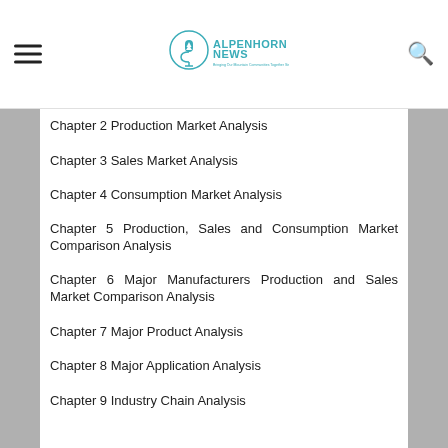ALPENHORNNEWS — Bringing Our Mountain Communities Together Since 1985
Chapter 2 Production Market Analysis
Chapter 3 Sales Market Analysis
Chapter 4 Consumption Market Analysis
Chapter 5 Production, Sales and Consumption Market Comparison Analysis
Chapter 6 Major Manufacturers Production and Sales Market Comparison Analysis
Chapter 7 Major Product Analysis
Chapter 8 Major Application Analysis
Chapter 9 Industry Chain Analysis